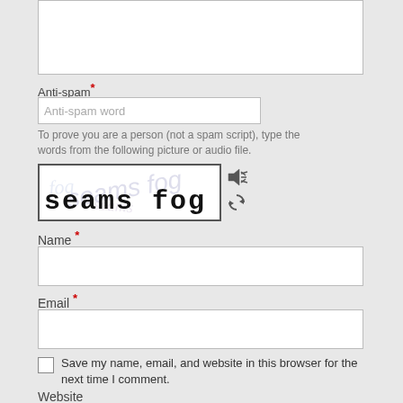[textarea]
Anti-spam *
Anti-spam word
To prove you are a person (not a spam script), type the words from the following picture or audio file.
[Figure (other): CAPTCHA image showing distorted text 'seams fog' in black on white background with decorative watermark]
Name *
Email *
Save my name, email, and website in this browser for the next time I comment.
Website